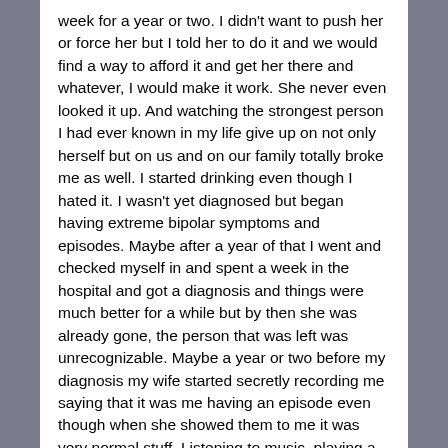week for a year or two. I didn't want to push her or force her but I told her to do it and we would find a way to afford it and get her there and whatever, I would make it work. She never even looked it up. And watching the strongest person I had ever known in my life give up on not only herself but on us and on our family totally broke me as well. I started drinking even though I hated it. I wasn't yet diagnosed but began having extreme bipolar symptoms and episodes. Maybe after a year of that I went and checked myself in and spent a week in the hospital and got a diagnosis and things were much better for a while but by then she was already gone, the person that was left was unrecognizable. Maybe a year or two before my diagnosis my wife started secretly recording me saying that it was me having an episode even though when she showed them to me it was very normal stuff. Listening to music, playing a video game. Smoking a cigarette and looking stressed from work. Nothing out of the ordinary. Writing down anything that I did or